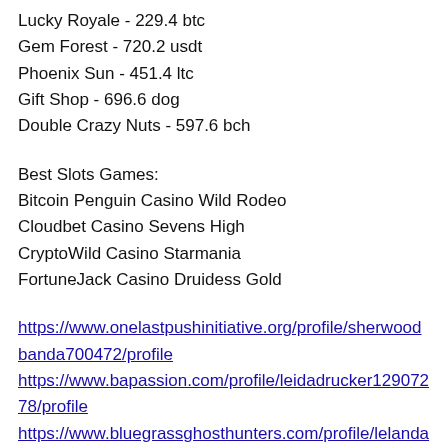Lucky Royale - 229.4 btc
Gem Forest - 720.2 usdt
Phoenix Sun - 451.4 ltc
Gift Shop - 696.6 dog
Double Crazy Nuts - 597.6 bch
Best Slots Games:
Bitcoin Penguin Casino Wild Rodeo
Cloudbet Casino Sevens High
CryptoWild Casino Starmania
FortuneJack Casino Druidess Gold
https://www.onelastpushinitiative.org/profile/sherwoodbanda700472/profile
https://www.bapassion.com/profile/leidadrucker12907278/profile
https://www.bluegrassghosthunters.com/profile/lelandankrapp13077375/profile
https://www.twowheeldetail-llc.com/profile/luisaklotz12838724/profile